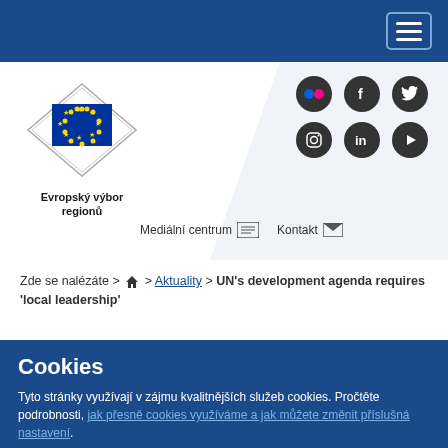Navigation bar with hamburger menu
[Figure (logo): European Committee of the Regions EU logo with blue flag and yellow stars, diamond/shield border design]
Evropský výbor regionů
[Figure (infographic): Social media icons: Flickr, Facebook, Twitter, Instagram, LinkedIn, YouTube]
Mediální centrum   Kontakt
Zde se nalézáte > 🏠 > Aktuality > UN's development agenda requires 'local leadership'
Cookies
Tyto stránky využívají v zájmu kvalitnějších služeb cookies. Pročtěte podrobnosti, jak přesně cookies využíváme a jak můžete změnit příslušná nastavení.
Povolit cookies
Zakázat cookies